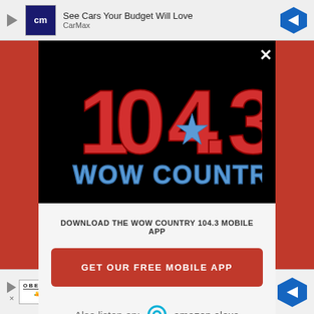[Figure (screenshot): Top advertisement banner: CarMax ad 'See Cars Your Budget Will Love' with CarMax logo]
[Figure (logo): 104.3 WOW COUNTRY radio station logo on black background with large red bold numbers 104.3, a blue star, and blue block letters WOW COUNTRY]
×
DOWNLOAD THE WOW COUNTRY 104.3 MOBILE APP
GET OUR FREE MOBILE APP
Also listen on:  amazon alexa
[Figure (screenshot): Bottom advertisement banner: Oberto 'Real Wood Smoke.' ad with Oberto logo and navigation arrow icon]